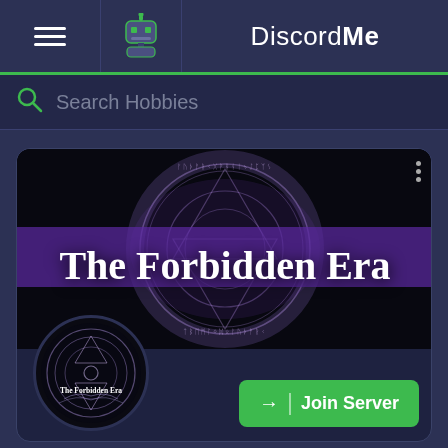DiscordMe
Search Hobbies
[Figure (screenshot): The Forbidden Era Discord server banner: dark background with glowing purple magic circle and white serif text 'The Forbidden Era']
[Figure (logo): The Forbidden Era server icon: circular logo with intricate design and text 'The Forbidden Era']
Join Server